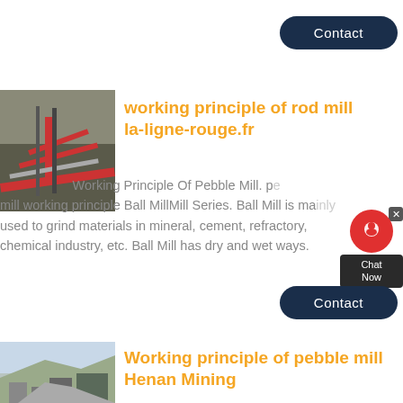Contact
[Figure (photo): Industrial mining or crushing equipment with conveyor belts and machinery]
working principle of rod mill la-ligne-rouge.fr
Working Principle Of Pebble Mill. pebble mill working principle Ball MillMill Series. Ball Mill is mainly used to grind materials in mineral, cement, refractory, chemical industry, etc. Ball Mill has dry and wet ways.
Contact
[Figure (photo): Open-pit mining facility or quarry with industrial infrastructure]
Working principle of pebble mill Henan Mining